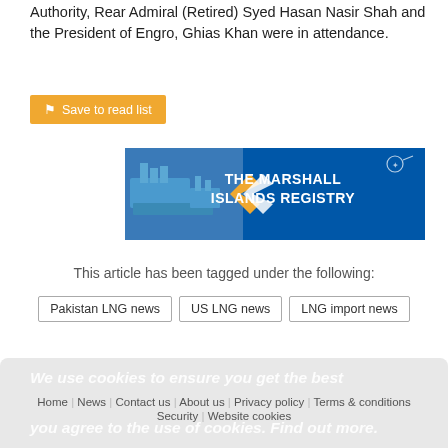Authority, Rear Admiral (Retired) Syed Hasan Nasir Shah and the President of Engro, Ghias Khan were in attendance.
[Figure (infographic): The Marshall Islands Registry advertisement banner with ship image and orange/white chevron arrows on blue background]
This article has been tagged under the following:
Pakistan LNG news
US LNG news
LNG import news
We use cookies to ensure you get the best you agree to the use of cookies. Find out more.
Home | News | Contact us | About us | Privacy policy | Terms & conditions | Security | Website cookies
Copyright © 2022 Palladian Publications Ltd.
All rights reserved
Tel: +44 (0)1252 718 999
Email: enquiries@lngindustry.com